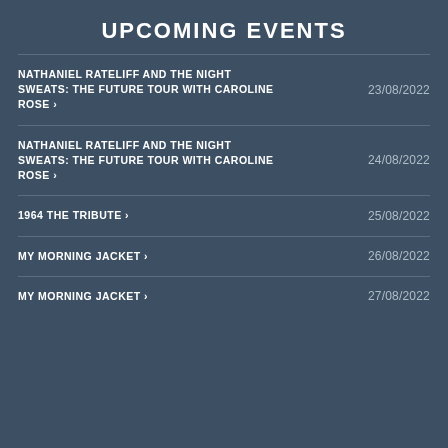UPCOMING EVENTS
NATHANIEL RATELIFF AND THE NIGHT SWEATS: THE FUTURE TOUR WITH CAROLINE ROSE ›  23/08/2022
NATHANIEL RATELIFF AND THE NIGHT SWEATS: THE FUTURE TOUR WITH CAROLINE ROSE ›  24/08/2022
1964 THE TRIBUTE ›  25/08/2022
MY MORNING JACKET ›  26/08/2022
MY MORNING JACKET ›  27/08/2022